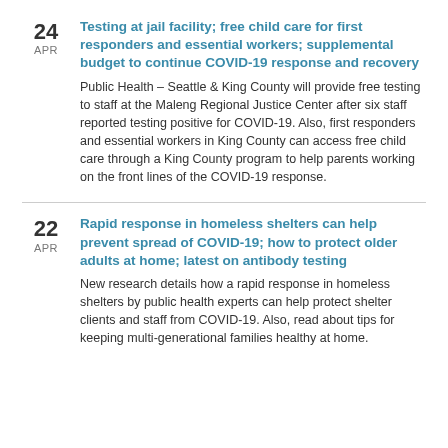24 APR — Testing at jail facility; free child care for first responders and essential workers; supplemental budget to continue COVID-19 response and recovery. Public Health – Seattle & King County will provide free testing to staff at the Maleng Regional Justice Center after six staff reported testing positive for COVID-19. Also, first responders and essential workers in King County can access free child care through a King County program to help parents working on the front lines of the COVID-19 response.
22 APR — Rapid response in homeless shelters can help prevent spread of COVID-19; how to protect older adults at home; latest on antibody testing. New research details how a rapid response in homeless shelters by public health experts can help protect shelter clients and staff from COVID-19. Also, read about tips for keeping multi-generational families healthy at home.